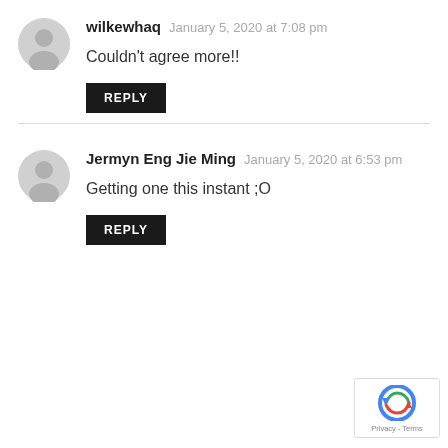wilkewhaq  January 5, 2020 at 7:08 pm
Couldn't agree more!!
REPLY
Jermyn Eng Jie Ming  January 5, 2020 at 6:53 pm
Getting one this instant ;O
REPLY